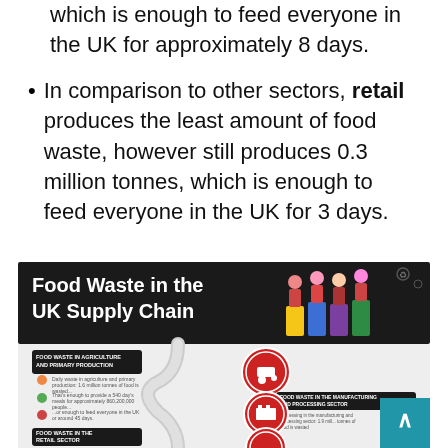which is enough to feed everyone in the UK for approximately 8 days.
In comparison to other sectors, retail produces the least amount of food waste, however still produces 0.3 million tonnes, which is enough to feed everyone in the UK for 3 days.
[Figure (infographic): Infographic titled 'Food Waste in the UK Supply Chain' showing a dark header with illustrated people at recycling bins, and a lower section showing a supply chain flow diagram with sections for agriculture/primary production, manufacturing/processing, retail sector, and hospitality. Red circular icons mark each supply chain stage.]